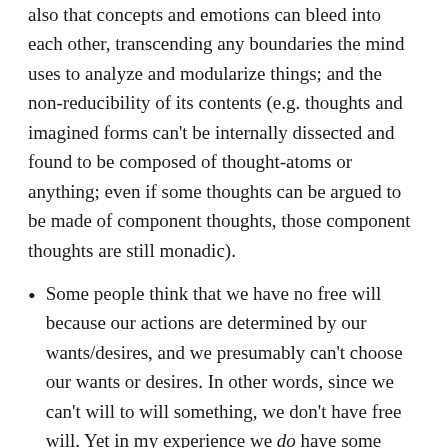also that concepts and emotions can bleed into each other, transcending any boundaries the mind uses to analyze and modularize things; and the non-reducibility of its contents (e.g. thoughts and imagined forms can't be internally dissected and found to be composed of thought-atoms or anything; even if some thoughts can be argued to be made of component thoughts, those component thoughts are still monadic).
Some people think that we have no free will because our actions are determined by our wants/desires, and we presumably can't choose our wants or desires. In other words, since we can't will to will something, we don't have free will. Yet in my experience we do have some control over what we want. But it doesn't really matter, because where does one draw the line? That is, does one demand that we be able to want to want what